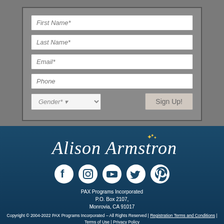[Figure (screenshot): Web form with fields: First Name*, Last Name*, Email*, Phone, Gender* dropdown, and Sign Up! button on a gray background]
[Figure (logo): Alison Armstrong cursive script logo in white with a small gold crown accent, on dark teal/navy background]
[Figure (infographic): Five social media icons in white: Facebook, Instagram, YouTube, Twitter, Pinterest]
PAX Programs Incorporated
P.O. Box 2107,
Monrovia, CA 91017
Copyright © 2004-2022 PAX Programs Incorporated – All Rights Reserved | Registration Terms and Conditions | Terms of Use | Privacy Policy